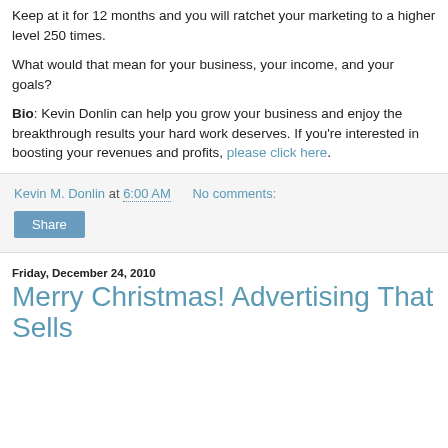Keep at it for 12 months and you will ratchet your marketing to a higher level 250 times.
What would that mean for your business, your income, and your goals?
Bio: Kevin Donlin can help you grow your business and enjoy the breakthrough results your hard work deserves. If you're interested in boosting your revenues and profits, please click here.
Kevin M. Donlin at 6:00 AM   No comments:
Share
Friday, December 24, 2010
Merry Christmas! Advertising That Sells